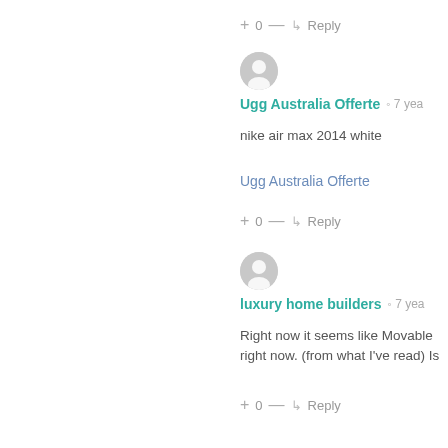+ 0 — ↳ Reply
Ugg Australia Offerte  🕐 7 yea…
nike air max 2014 white
Ugg Australia Offerte
+ 0 — ↳ Reply
luxury home builders  🕐 7 yea…
Right now it seems like Movable… right now. (from what I've read) Is…
+ 0 — ↳ Reply